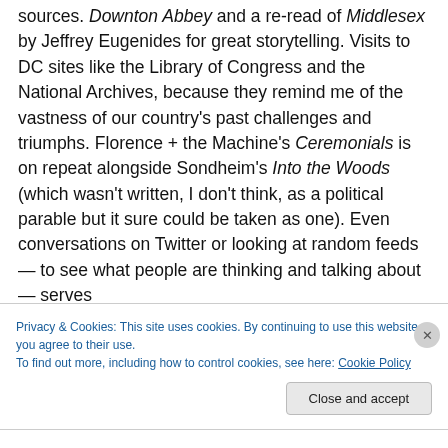sources. Downton Abbey and a re-read of Middlesex by Jeffrey Eugenides for great storytelling. Visits to DC sites like the Library of Congress and the National Archives, because they remind me of the vastness of our country's past challenges and triumphs. Florence + the Machine's Ceremonials is on repeat alongside Sondheim's Into the Woods (which wasn't written, I don't think, as a political parable but it sure could be taken as one). Even conversations on Twitter or looking at random feeds — to see what people are thinking and talking about — serves
Privacy & Cookies: This site uses cookies. By continuing to use this website, you agree to their use.
To find out more, including how to control cookies, see here: Cookie Policy